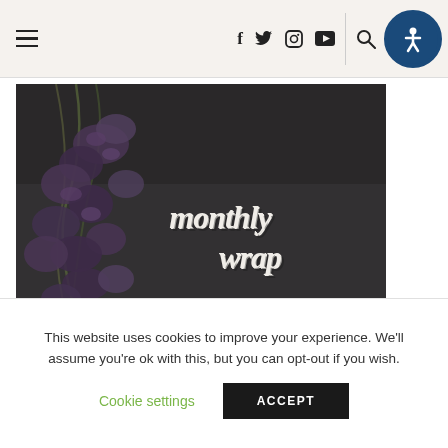Navigation bar with hamburger menu, social icons (f, twitter, instagram, youtube), search icon, and accessibility button
[Figure (photo): Dark moody photo of wilted purple/dark flowers on a grey textured background with white gothic-style text reading 'monthly wrap']
The Stories So Far: a look at the first half of 2021 ♥
This website uses cookies to improve your experience. We'll assume you're ok with this, but you can opt-out if you wish.
Cookie settings  ACCEPT